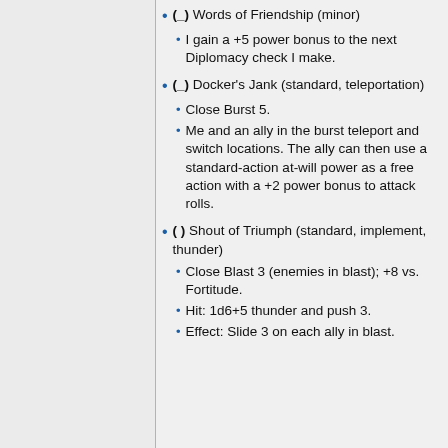(_) Words of Friendship (minor)
I gain a +5 power bonus to the next Diplomacy check I make.
(_) Docker's Jank (standard, teleportation)
Close Burst 5.
Me and an ally in the burst teleport and switch locations. The ally can then use a standard-action at-will power as a free action with a +2 power bonus to attack rolls.
( ) Shout of Triumph (standard, implement, thunder)
Close Blast 3 (enemies in blast); +8 vs. Fortitude.
Hit: 1d6+5 thunder and push 3.
Effect: Slide 3 on each ally in blast.